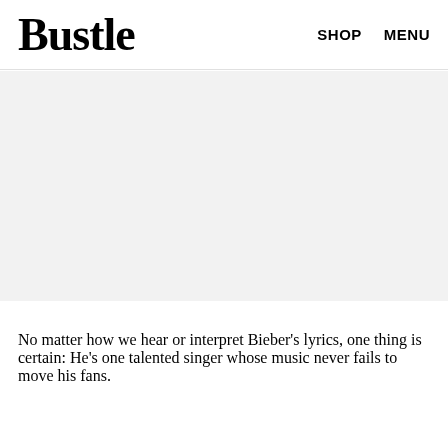Bustle   SHOP   MENU
[Figure (photo): Large grey placeholder image area beneath the header navigation]
No matter how we hear or interpret Bieber's lyrics, one thing is certain: He's one talented singer whose music never fails to move his fans.